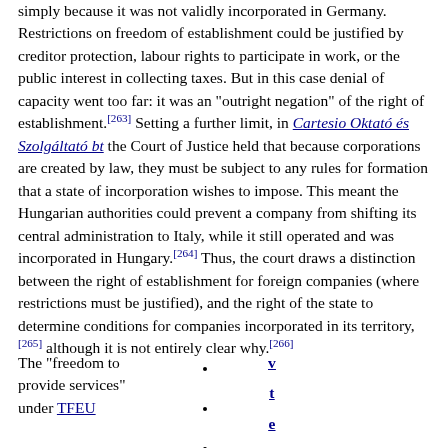simply because it was not validly incorporated in Germany. Restrictions on freedom of establishment could be justified by creditor protection, labour rights to participate in work, or the public interest in collecting taxes. But in this case denial of capacity went too far: it was an "outright negation" of the right of establishment.[263] Setting a further limit, in Cartesio Oktató és Szolgáltató bt the Court of Justice held that because corporations are created by law, they must be subject to any rules for formation that a state of incorporation wishes to impose. This meant the Hungarian authorities could prevent a company from shifting its central administration to Italy, while it still operated and was incorporated in Hungary.[264] Thus, the court draws a distinction between the right of establishment for foreign companies (where restrictions must be justified), and the right of the state to determine conditions for companies incorporated in its territory,[265] although it is not entirely clear why.[266]
The "freedom to provide services" under TFEU
•
•
•
v t e
Freedom of services cases
TFEU arts 56-62
Services in the Internal Market Directive 2006